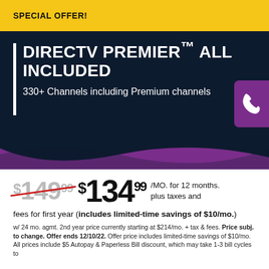SPECIAL OFFER!
DIRECTV PREMIER™ ALL INCLUDED
330+ Channels including Premium channels
$149.99 $134.99 /MO. for 12 months. plus taxes and fees for first year (includes limited-time savings of $10/mo.)
w/ 24 mo. agmt. 2nd year price currently starting at $214/mo. + tax & fees. Price subj. to change. Offer ends 12/10/22. Offer price includes limited-time savings of $10/mo. All prices include $5 Autopay & Paperless Bill discount, which may take 1-3 bill cycles to